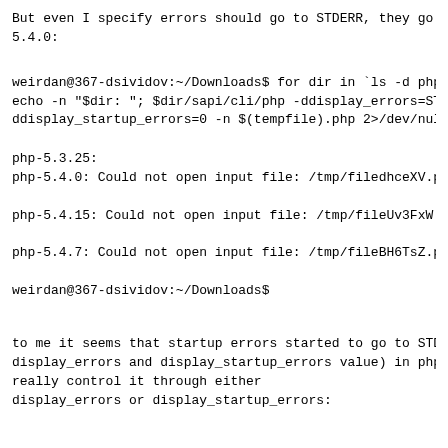But even I specify errors should go to STDERR, they go to 5.4.0:
weirdan@367-dsividov:~/Downloads$ for dir in `ls -d php
echo -n "$dir: "; $dir/sapi/cli/php -ddisplay_errors=ST
ddisplay_startup_errors=0 -n $(tempfile).php 2>/dev/nul
php-5.3.25:
php-5.4.0: Could not open input file: /tmp/filedhceXV.p

php-5.4.15: Could not open input file: /tmp/fileUv3FxW.

php-5.4.7: Could not open input file: /tmp/fileBH6TsZ.p

weirdan@367-dsividov:~/Downloads$
to me it seems that startup errors started to go to STD
display_errors and display_startup_errors value) in php
really control it through either
display_errors or display_startup_errors: